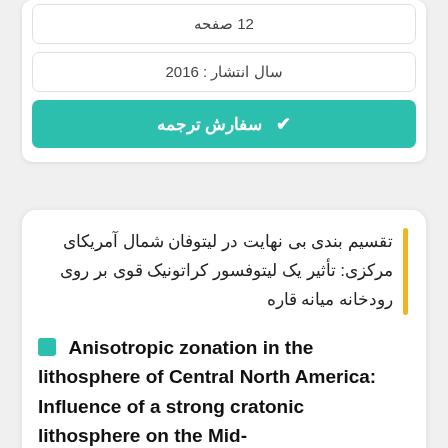12 صفحه
سال انتشار : 2016
✔ سفارش ترجمه
تقسیم بندی بی نهایت در لیتوفان شمال آمریکای مرکزی: تأثیر یک لیتوفسور کراتونیک قوی بر روی رودخانه میانه قاره
Anisotropic zonation in the lithosphere of Central North America: Influence of a strong cratonic lithosphere on the Mid-